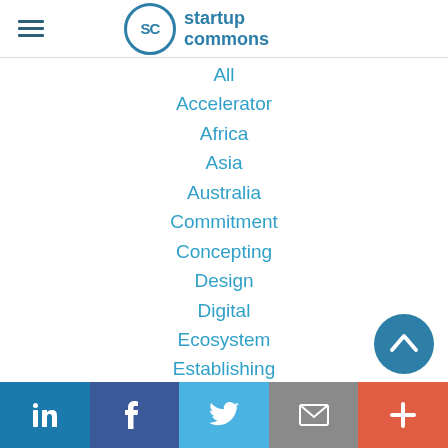SC startup commons
All
Accelerator
Africa
Asia
Australia
Commitment
Concepting
Design
Digital
Ecosystem
Establishing
Europe
Event
Growth
Incubator
Infrastructure
LinkedIn Facebook Twitter Email +